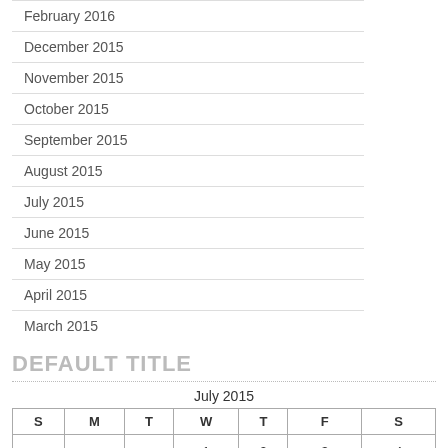February 2016
December 2015
November 2015
October 2015
September 2015
August 2015
July 2015
June 2015
May 2015
April 2015
March 2015
DEFAULT TITLE
| S | M | T | W | T | F | S |
| --- | --- | --- | --- | --- | --- | --- |
|  |  |  | 1 | 2 | 3 | 4 |
| 5 | 6 | 7 | 8 | 9 | 10 | 11 |